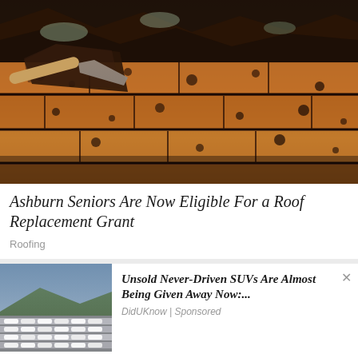[Figure (photo): Close-up photo of damaged/deteriorating roof tiles with a hand tool (trowel or chisel) being inserted under the old roofing material, showing worn brick-red tiles with dark spots and cracks]
Ashburn Seniors Are Now Eligible For a Roof Replacement Grant
Roofing
[Figure (photo): Advertisement overlay: thumbnail image of a large parking lot filled with rows of white SUVs with mountains in the background. Ad text: 'Unsold Never-Driven SUVs Are Almost Being Given Away Now:...' Source: DidUKnow | Sponsored]